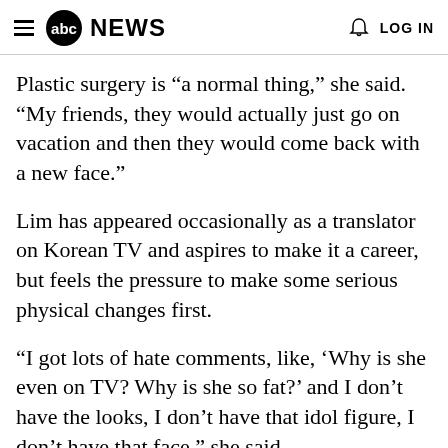abc NEWS  LOG IN
Plastic surgery is “a normal thing,” she said. “My friends, they would actually just go on vacation and then they would come back with a new face.”
Lim has appeared occasionally as a translator on Korean TV and aspires to make it a career, but feels the pressure to make some serious physical changes first.
“I got lots of hate comments, like, ‘Why is she even on TV? Why is she so fat?’ and I don’t have the looks, I don’t have that idol figure, I don’t have that face,” she said.